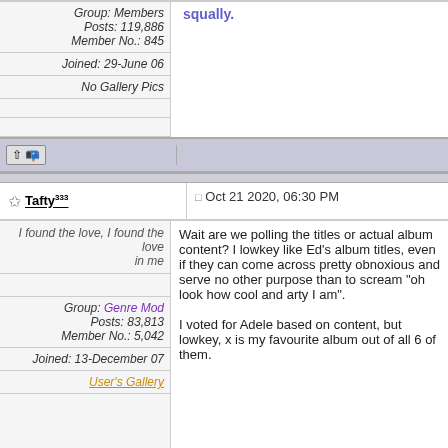Group: Members
Posts: 119,886
Member No.: 845
Joined: 29-June 06
No Gallery Pics
squally.
Tafty³³³ — Oct 21 2020, 06:30 PM
I found the love, I found the love in me
Group: Genre Mod
Posts: 83,813
Member No.: 5,042
Joined: 13-December 07
User's Gallery
Wait are we polling the titles or actual album content? I lowkey like Ed's album titles, even if they can come across pretty obnoxious and serve no other purpose than to scream "oh look how cool and arty I am".

I voted for Adele based on content, but lowkey, x is my favourite album out of all 6 of them.